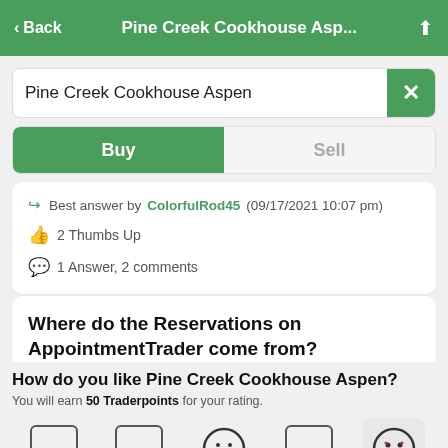< Back   Pine Creek Cookhouse Asp...
Pine Creek Cookhouse Aspen
Buy   Sell
Best answer by ColorfulRod45 (09/17/2021 10:07 pm)
2 Thumbs Up
1 Answer, 2 comments
Where do the Reservations on AppointmentTrader come from?
How do you like Pine Creek Cookhouse Aspen?
You will earn 50 Traderpoints for your rating.